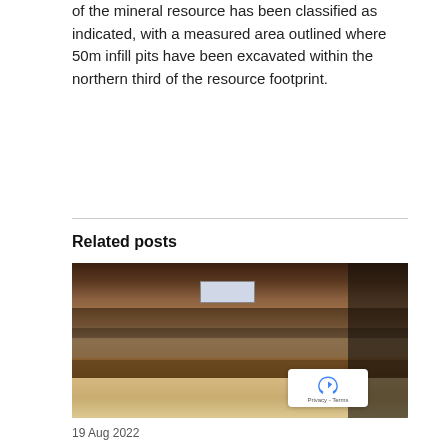of the mineral resource has been classified as indicated, with a measured area outlined where 50m infill pits have been excavated within the northern third of the resource footprint.
Related posts
[Figure (photo): Large parliamentary hall or conference venue with rows of people standing at tables in a semicircular auditorium. Officials in formal attire standing at the front.]
19 Aug 2022